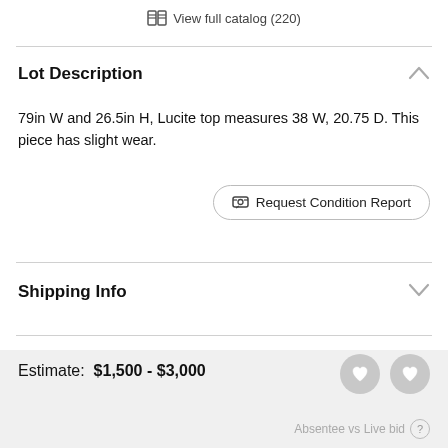View full catalog (220)
Lot Description
79in W and 26.5in H, Lucite top measures 38 W, 20.75 D. This piece has slight wear.
Request Condition Report
Shipping Info
Estimate:  $1,500 - $3,000
Login for Price
Absentee vs Live bid ?